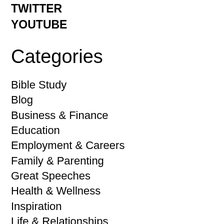TWITTER
YOUTUBE
Categories
Bible Study
Blog
Business & Finance
Education
Employment & Careers
Family & Parenting
Great Speeches
Health & Wellness
Inspiration
Life & Relationships